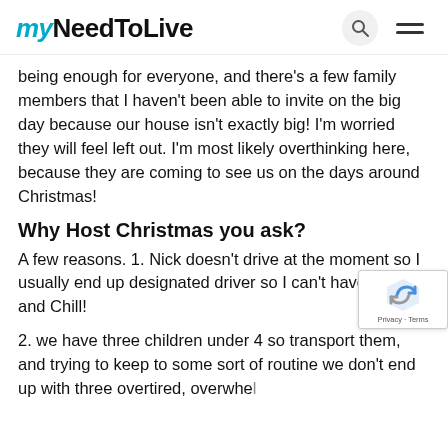myNeedToLive
being enough for everyone, and there’s a few family members that I haven’t been able to invite on the big day because our house isn’t exactly big! I’m worried they will feel left out. I’m most likely overthinking here, because they are coming to see us on the days around Christmas!
Why Host Christmas you ask?
A few reasons. 1. Nick doesn’t drive at the moment so I usually end up designated driver so I can’t have a drink and Chill!
2. we have three children under 4 so transport them, and trying to keep to some sort of routine we don’t end up with three overtired, overwhel...